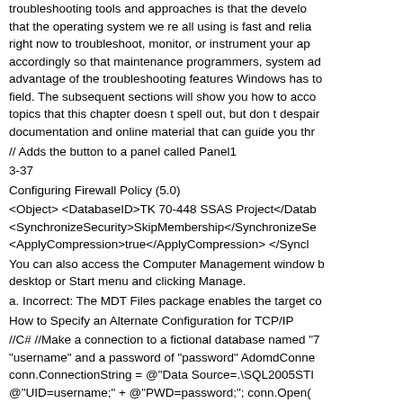troubleshooting tools and approaches is that the develo that the operating system we re all using is fast and relia right now to troubleshoot, monitor, or instrument your ap accordingly so that maintenance programmers, system ad advantage of the troubleshooting features Windows has t field. The subsequent sections will show you how to acc topics that this chapter doesn t spell out, but don t despa documentation and online material that can guide you th
// Adds the button to a panel called Panel1
3-37
Configuring Firewall Policy (5.0)
<Object> <DatabaseID>TK 70-448 SSAS Project</Data <SynchronizeSecurity>SkipMembership</SynchronizeSe <ApplyCompression>true</ApplyCompression> </Syncl
You can also access the Computer Management window desktop or Start menu and clicking Manage.
a. Incorrect: The MDT Files package enables the target c
How to Specify an Alternate Configuration for TCP/IP
//C# //Make a connection to a fictional database named "username" and a password of "password" AdomdConne conn.ConnectionString = @"Data Source=.\SQL2005ST @"UID=username;" + @"PWD=password;"; conn.Open( database named "TestASDatabase" 'for a user with the ID Dim conn As New AdomdConnection() conn.Connection Objective 6.3 Answers 1.